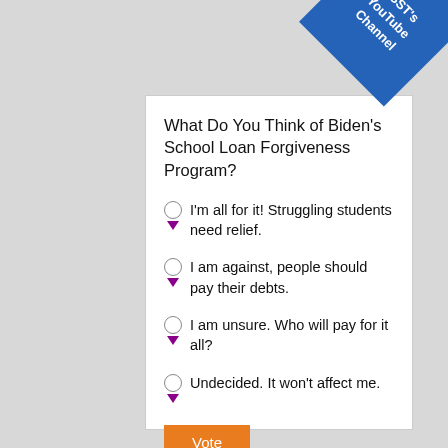What Do You Think of Biden's School Loan Forgiveness Program?
I'm all for it! Struggling students need relief.
I am against, people should pay their debts.
I am unsure. Who will pay for it all?
Undecided. It won't affect me.
[Figure (other): Blue diagonal ribbon banner in top-right corner with text 'KSST's YouTube Channel']